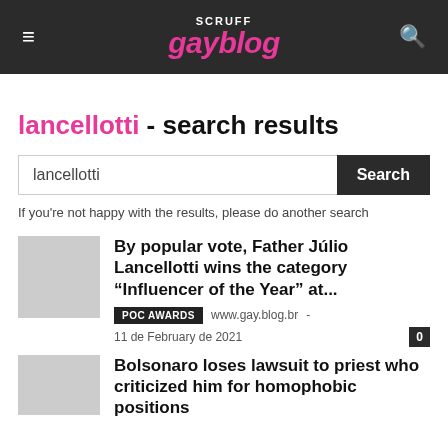SCRUFF gayblog
lancellotti - search results
lancellotti
If you're not happy with the results, please do another search
By popular vote, Father Júlio Lancellotti wins the category “Influencer of the Year” at...
POC AWARDS  www.gay.blog.br  11 de February de 2021  0
Bolsonaro loses lawsuit to priest who criticized him for homophobic positions